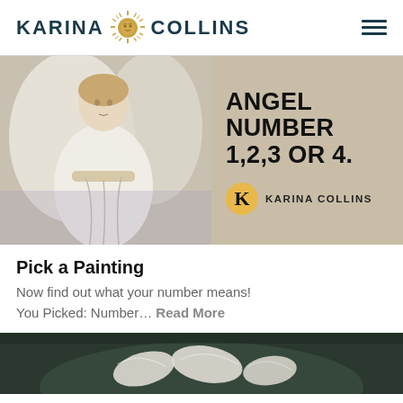KARINA COLLINS
[Figure (illustration): Website banner showing an angel painting on the left and text 'ANGEL NUMBER 1,2,3 OR 4.' with Karina Collins branding on a tan/beige background on the right]
Pick a Painting
Now find out what your number means! You Picked: Number… Read More
[Figure (photo): Partial view of a dark image with angels or birds, bottom teaser for next article]